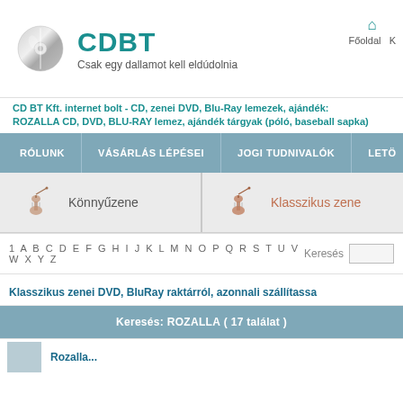[Figure (logo): CDBT logo with grey disc icon and teal CDBT text, subtitle 'Csak egy dallamot kell eldúdolnia']
CD BT Kft. internet bolt - CD, zenei DVD, Blu-Ray lemezek, ajándék: ROZALLA CD, DVD, BLU-RAY lemez, ajándék tárgyak (póló, baseball sapka)
RÓLUNK | VÁSÁRLÁS LÉPÉSEI | JOGI TUDNIVALÓK | LETÖ
[Figure (illustration): Category bar with two violin icons: 'Könnyűzene' (light music) on the left and 'Klasszikus zene' (classical music) in teal on the right]
1 A B C D E F G H I J K L M N O P Q R S T U V W X Y Z     Keresés
Klasszikus zenei DVD, BluRay raktárról, azonnali szállítása
Keresés: ROZALLA ( 17 találat )
Rozalla...